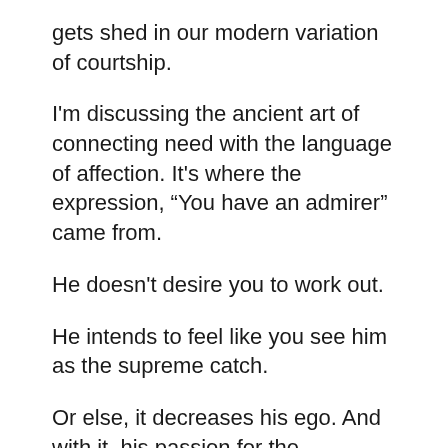gets shed in our modern variation of courtship.
I'm discussing the ancient art of connecting need with the language of affection. It's where the expression, “You have an admirer” came from.
He doesn't desire you to work out.
He intends to feel like you see him as the supreme catch.
Or else, it decreases his ego. And with it, his passion for the relationship deflates too.
He just can not picture himself with a lady who appreciates other men greater than she